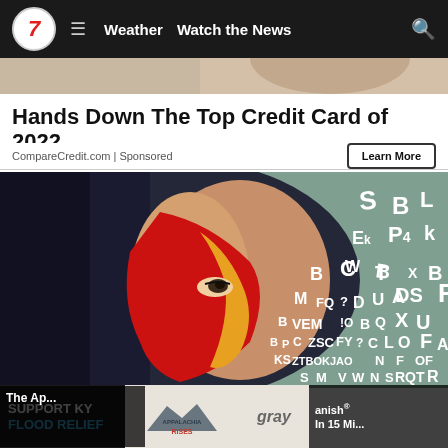7 Weather | Watch the News
[Figure (photo): Woman with face paint in red and yellow with scattered alphabet letters on teal background]
Hands Down The Top Credit Card of 2022
CompareCredit.com | Sponsored
Learn More
The App... anish In 15 Mi...
SUPPORT KY FLOOD RELIEF